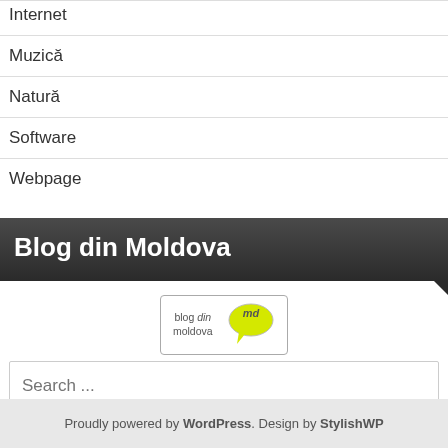Internet
Muzică
Natură
Software
Webpage
Blog din Moldova
[Figure (logo): Blog din Moldova logo with speech bubble and 'md' text]
Search ...
Search
Proudly powered by WordPress. Design by StylishWP